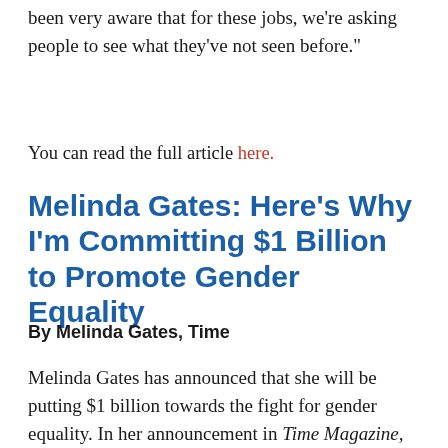been very aware that for these jobs, we're asking people to see what they've not seen before."
You can read the full article here.
Melinda Gates: Here’s Why I’m Committing $1 Billion to Promote Gender Equality
By Melinda Gates, Time
Melinda Gates has announced that she will be putting $1 billion towards the fight for gender equality. In her announcement in Time Magazine, she writes, “I want to see more women in the position to make decisions, control resources, and shape policies and perspectives. I believe that women’s potential